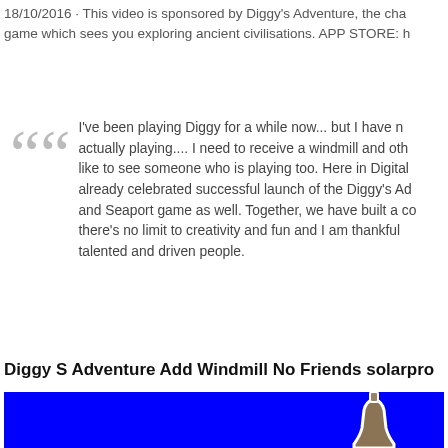18/10/2016 · This video is sponsored by Diggy's Adventure, the cha... game which sees you exploring ancient civilisations. APP STORE: h...
I've been playing Diggy for a while now... but I have n... actually playing.... I need to receive a windmill and oth... like to see someone who is playing too. Here in Digita... already celebrated successful launch of the Diggy's Ad... and Seaport game as well. Together, we have built a co... there's no limit to creativity and fun and I am thankful... talented and driven people.
Diggy S Adventure Add Windmill No Friends solarpro...
[Figure (photo): Blue background with a bottle (windmill-style object) visible on the right side, partially cropped.]